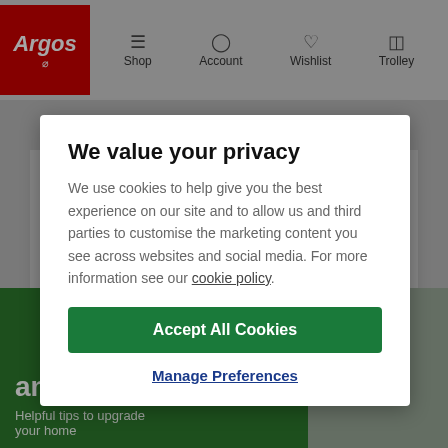[Figure (screenshot): Argos website navigation bar with logo, Shop, Account, Wishlist, Trolley icons]
We value your privacy
We use cookies to help give you the best experience on our site and to allow us and third parties to customise the marketing content you see across websites and social media. For more information see our cookie policy.
Accept All Cookies
Manage Preferences
[Figure (screenshot): Bottom portion of Argos website showing green section with 'and guides' text, 'Helpful tips to upgrade your home' subtitle, and partial photo of people sitting]